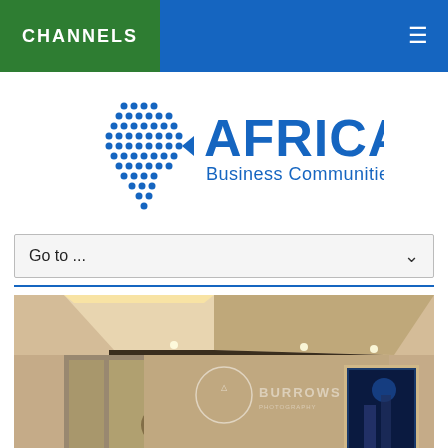CHANNELS
[Figure (logo): Africa Business Communities logo — Africa map made of blue dots on the left, with 'AFRICA' in large bold blue letters and 'Business Communities' below in smaller blue text on the right]
Go to ...
[Figure (photo): Interior room photo showing a modern luxury bedroom/living space with backlit ceiling panels, decorative wall art, and a window overlooking a night scene. Watermark text 'BURROWS' visible.]